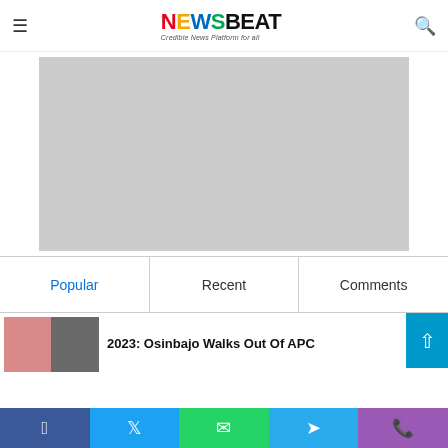NEWSBEAT — Credible News Platform for all
[Figure (other): Gray advertisement placeholder image]
Popular | Recent | Comments
2023: Osinbajo Walks Out Of APC
Facebook | Twitter | WhatsApp | Telegram | Phone